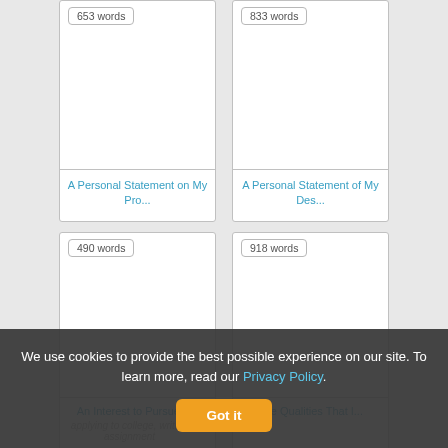[Figure (screenshot): Card grid showing document previews with word counts. Top row: '653 words' card titled 'A Personal Statement on My Pro...' and '833 words' card titled 'A Personal Statement of My Des...'. Bottom row: '490 words' card titled 'An Interest to Pursue a...' and '918 words' card titled 'The Qualities That I...'. Below cards are partially visible italic subtitles mentioning 'applying to college, writing assignment'.]
We use cookies to provide the best possible experience on our site. To learn more, read our Privacy Policy.
Got it